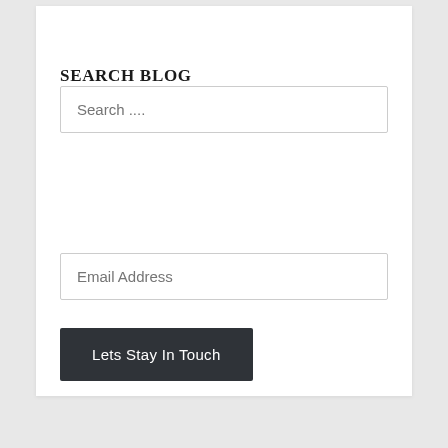SEARCH BLOG
Search ....
Email Address
Lets Stay In Touch